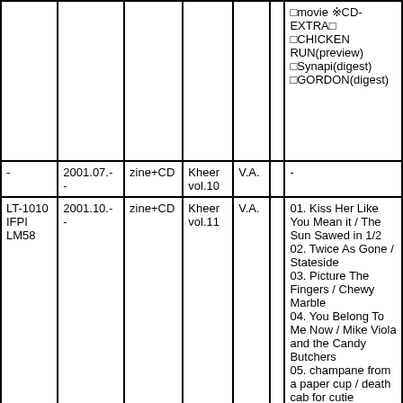| Col1 | Col2 | Col3 | Col4 | Col5 | Col6 | Col7 |
| --- | --- | --- | --- | --- | --- | --- |
|  |  |  |  |  |  | □movie ※CD-EXTRA□
□CHICKEN RUN(preview)
□Synapi(digest)
□GORDON(digest) |
| - | 2001.07.-
- | zine+CD | Kheer vol.10 | V.A. |  | - |
| LT-1010
IFPI LM58 | 2001.10.-
- | zine+CD | Kheer vol.11 | V.A. |  | 01. Kiss Her Like You Mean it / The Sun Sawed in 1/2
02. Twice As Gone / Stateside
03. Picture The Fingers / Chewy Marble
04. You Belong To Me Now / Mike Viola and the Candy Butchers
05. champane from a paper cup / death cab for cutie
06. Hurt U / The Bullets
07. Super Sune / Abe Julie[□□□□□]
08. Peole People / Eal |
|  |  |  |  |  |  | □music□
01. Nice Day / The Salteens |